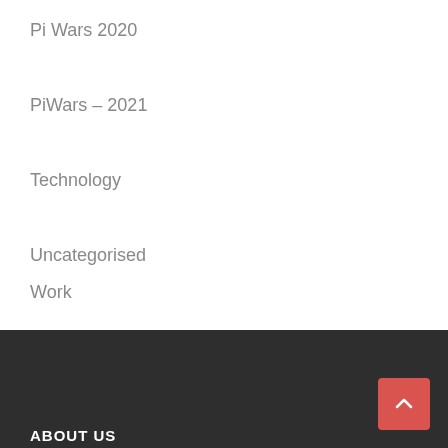Pi Wars 2020
PiWars – 2021
Technology
Uncategorised
Work
ABOUT US